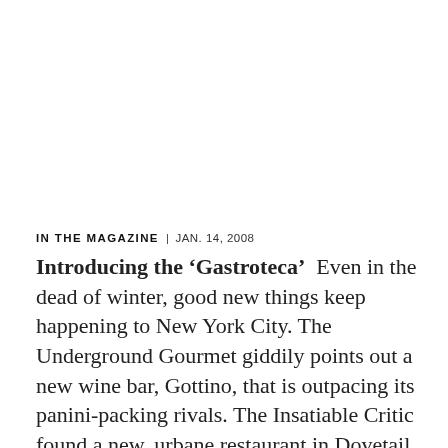IN THE MAGAZINE | JAN. 14, 2008
Introducing the 'Gastroteca'  Even in the dead of winter, good new things keep happening to New York City. The Underground Gourmet giddily points out a new wine bar, Gottino, that is outpacing its panini-packing rivals. The Insatiable Critic found a new, urbane restaurant in Dovetail and loves the Sunday prix fixe. Among this week's openings, Periyali adds a midtown sister in Persephone, giving the city another blue-chip Greek restaurant. Ah, New York: Even our lean seasons have their